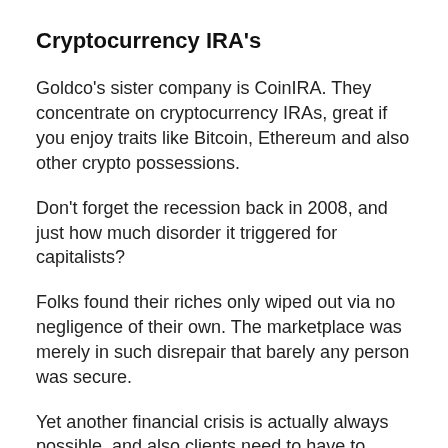Cryptocurrency IRA's
Goldco's sister company is CoinIRA. They concentrate on cryptocurrency IRAs, great if you enjoy traits like Bitcoin, Ethereum and also other crypto possessions.
Don't forget the recession back in 2008, and just how much disorder it triggered for capitalists?
Folks found their riches only wiped out via no negligence of their own. The marketplace was merely in such disrepair that barely any person was secure.
Yet another financial crisis is actually always possible, and also clients need to have to